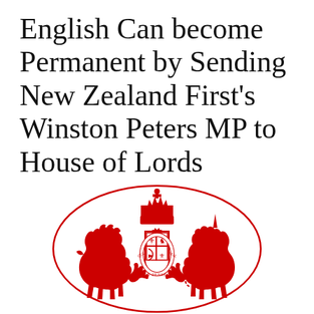English Can become Permanent by Sending New Zealand First's Winston Peters MP to House of Lords
[Figure (logo): Royal coat of arms of the United Kingdom in red, showing a lion and unicorn flanking a crowned shield, with the motto 'HONI SOIT QUI MAL Y PENSE', enclosed in an oval border.]